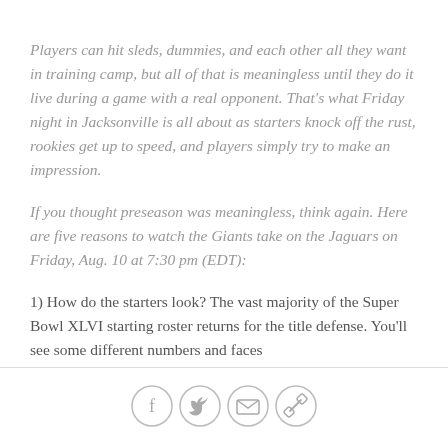Players can hit sleds, dummies, and each other all they want in training camp, but all of that is meaningless until they do it live during a game with a real opponent. That's what Friday night in Jacksonville is all about as starters knock off the rust, rookies get up to speed, and players simply try to make an impression.
If you thought preseason was meaningless, think again. Here are five reasons to watch the Giants take on the Jaguars on Friday, Aug. 10 at 7:30 pm (EDT):
1) How do the starters look? The vast majority of the Super Bowl XLVI starting roster returns for the title defense. You'll see some different numbers and faces
[Figure (other): Social media sharing icons: Facebook, Twitter, Email, Link]